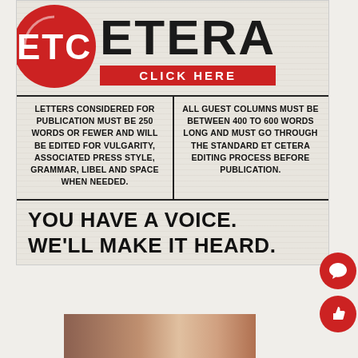[Figure (logo): ET Cetera student newspaper logo with red circle containing stylized 'ETC' letters and bold 'ETERA' text, with a red 'CLICK HERE' bar]
LETTERS CONSIDERED FOR PUBLICATION MUST BE 250 WORDS OR FEWER AND WILL BE EDITED FOR VULGARITY, ASSOCIATED PRESS STYLE, GRAMMAR, LIBEL AND SPACE WHEN NEEDED.
ALL GUEST COLUMNS MUST BE BETWEEN 400 TO 600 WORDS LONG AND MUST GO THROUGH THE STANDARD ET CETERA EDITING PROCESS BEFORE PUBLICATION.
YOU HAVE A VOICE. WE'LL MAKE IT HEARD.
[Figure (photo): Partial photo strip at bottom of page]